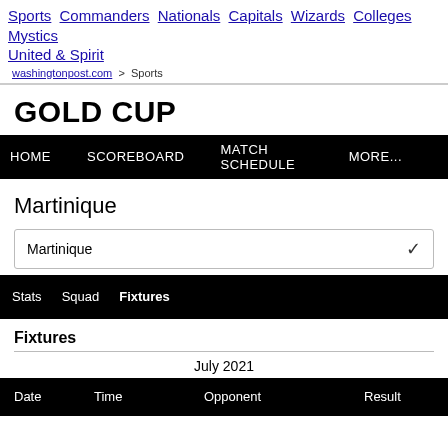Sports  Commanders  Nationals  Capitals  Wizards  Colleges  Mystics  United & Spirit
washingtonpost.com > Sports
GOLD CUP
HOME   SCOREBOARD   MATCH SCHEDULE   MORE...
Martinique
Martinique ▾
Stats   Squad   Fixtures
Fixtures
July 2021
| Date | Time | Opponent | Result |
| --- | --- | --- | --- |